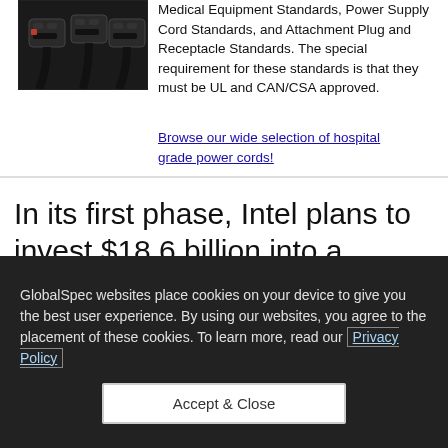[Figure (photo): Power cords with multiple black connectors on dark background]
Medical Equipment Standards, Power Supply Cord Standards, and Attachment Plug and Receptacle Standards. The special requirement for these standards is that they must be UL and CAN/CSA approved.
Browse our wide selection of hospital grade power cords!
In its first phase, Intel plans to invest $18.6 billion into a leading-edge semiconductor mega-site in Magdeburg, Germany. It will also
GlobalSpec websites place cookies on your device to give you the best user experience. By using our websites, you agree to the placement of these cookies. To learn more, read our Privacy Policy
Accept & Close